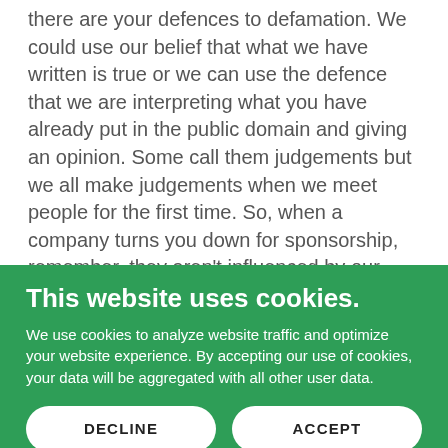there are your defences to defamation. We could use our belief that what we have written is true or we can use the defence that we are interpreting what you have already put in the public domain and giving an opinion. Some call them judgements but we all make judgements when we meet people for the first time. So, when a company turns you down for sponsorship, remember, they aren't influenced by our team because they can view the videos in full and make a judgment that any reasonable person would make on the content of your social media
This website uses cookies.
We use cookies to analyze website traffic and optimize your website experience. By accepting our use of cookies, your data will be aggregated with all other user data.
DECLINE
ACCEPT